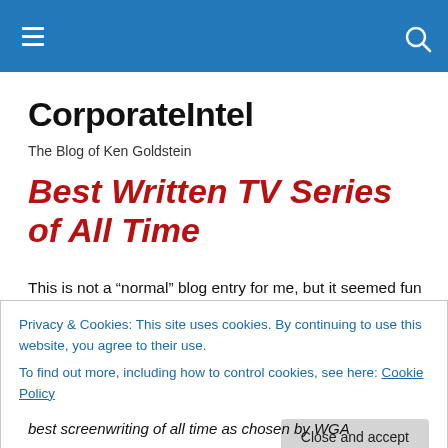CorporateIntel
The Blog of Ken Goldstein
Best Written TV Series of All Time
This is not a “normal” blog entry for me, but it seemed fun
Privacy & Cookies: This site uses cookies. By continuing to use this website, you agree to their use.
To find out more, including how to control cookies, see here: Cookie Policy
Close and accept
best screenwriting of all time as chosen by WGA